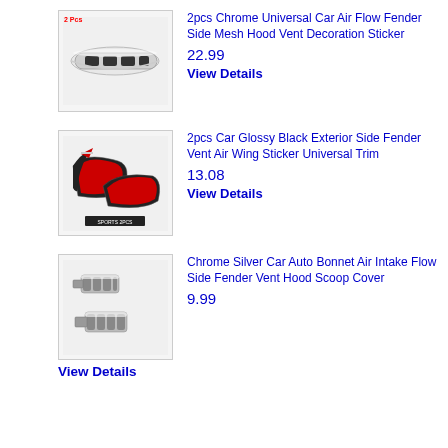[Figure (photo): 2pcs Chrome Universal Car Air Flow Fender Side Mesh Hood Vent Decoration Sticker product photo with '2 Pcs' label]
2pcs Chrome Universal Car Air Flow Fender Side Mesh Hood Vent Decoration Sticker
22.99
View Details
[Figure (photo): 2pcs Car Glossy Black Exterior Side Fender Vent Air Wing Sticker Universal Trim product photo showing red and black wing stickers with SPORTS 2PCS label]
2pcs Car Glossy Black Exterior Side Fender Vent Air Wing Sticker Universal Trim
13.08
View Details
[Figure (photo): Chrome Silver Car Auto Bonnet Air Intake Flow Side Fender Vent Hood Scoop Cover product photo showing chrome silver vent pieces]
Chrome Silver Car Auto Bonnet Air Intake Flow Side Fender Vent Hood Scoop Cover
9.99
View Details